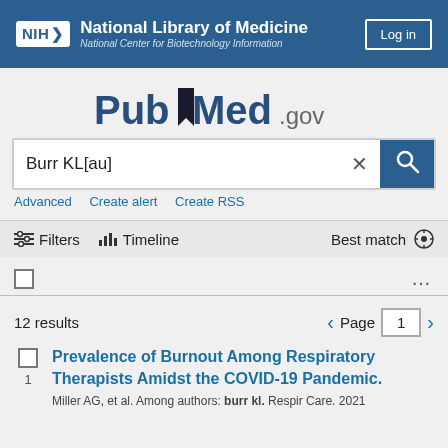[Figure (screenshot): NIH National Library of Medicine / National Center for Biotechnology Information header bar with Log in button]
[Figure (logo): PubMed.gov logo]
Burr KL[au]
Advanced   Create alert   Create RSS
Filters   Timeline   Best match
12 results   Page 1
Prevalence of Burnout Among Respiratory Therapists Amidst the COVID-19 Pandemic.
Miller AG, et al. Among authors: burr kl. Respir Care. 2021